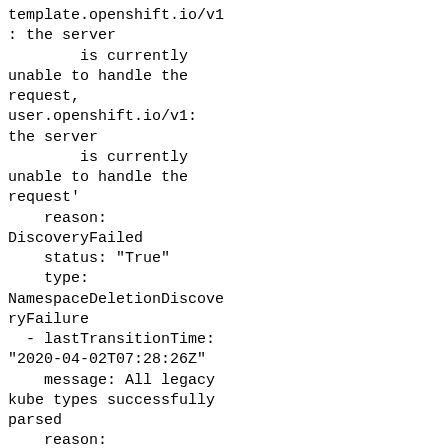template.openshift.io/v1
: the server
        is currently
unable to handle the
request,
user.openshift.io/v1:
the server
        is currently
unable to handle the
request'
    reason:
DiscoveryFailed
    status: "True"
    type:
NamespaceDeletionDiscove
ryFailure
  - lastTransitionTime:
"2020-04-02T07:28:26Z"
    message: All legacy
kube types successfully
parsed
    reason:
ParsedGroupVersions
    status: "False"
    type:
NamespaceDeletionGroupVe
rsionParsingFailure
  - lastTransitionTime:
"2020-04-02T07:31:13Z"
    message: All content
successfully deleted